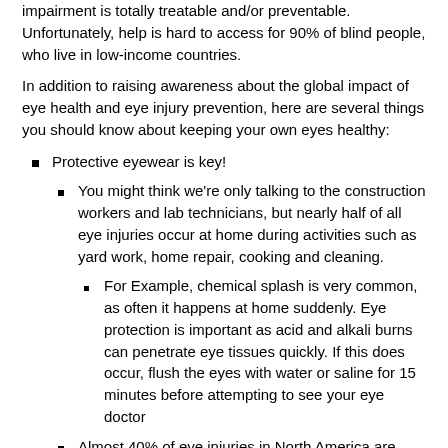impairment is totally treatable and/or preventable. Unfortunately, help is hard to access for 90% of blind people, who live in low-income countries.
In addition to raising awareness about the global impact of eye health and eye injury prevention, here are several things you should know about keeping your own eyes healthy:
Protective eyewear is key!
You might think we're only talking to the construction workers and lab technicians, but nearly half of all eye injuries occur at home during activities such as yard work, home repair, cooking and cleaning.
For Example, chemical splash is very common, as often it happens at home suddenly. Eye protection is important as acid and alkali burns can penetrate eye tissues quickly. If this does occur, flush the eyes with water or saline for 15 minutes before attempting to see your eye doctor
Almost 40% of eye injuries in North America are sports related or caused during recreational activities.